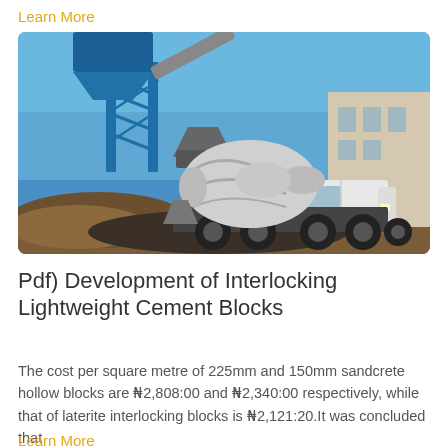Learn More
[Figure (photo): A concrete mixer truck being loaded by a large blue mobile batching plant at a construction site. The blue steel structure holds a mixing hopper above, and a white concrete mixer drum is mounted on the truck below. Dirt and aggregate are visible in the foreground under a clear blue sky.]
Pdf) Development of Interlocking Lightweight Cement Blocks
The cost per square metre of 225mm and 150mm sandcrete hollow blocks are ₦2,808:00 and ₦2,340:00 respectively, while that of laterite interlocking blocks is ₦2,121:20.It was concluded that
Learn More